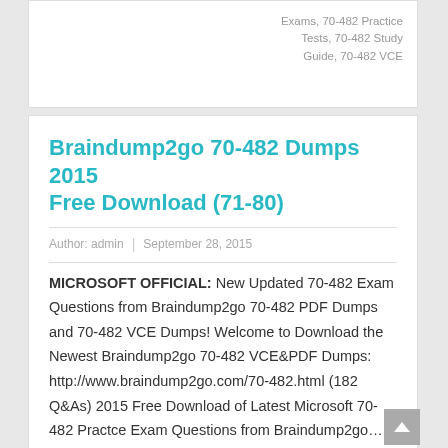Exams, 70-482 Practice Tests, 70-482 Study Guide, 70-482 VCE
Braindump2go 70-482 Dumps 2015 Free Download (71-80)
Author: admin | September 28, 2015
MICROSOFT OFFICIAL: New Updated 70-482 Exam Questions from Braindump2go 70-482 PDF Dumps and 70-482 VCE Dumps! Welcome to Download the Newest Braindump2go 70-482 VCE&PDF Dumps:  http://www.braindump2go.com/70-482.html (182 Q&As) 2015 Free Download of Latest Microsoft 70-482 Practce Exam Questions from Braindump2go…
READ MORE
70-482 Dumps, 70-482 Exam Questions, 70-482 PDF, 70-482 VCE, Microsoft
70-482 Advanced Windows Store App Development Using